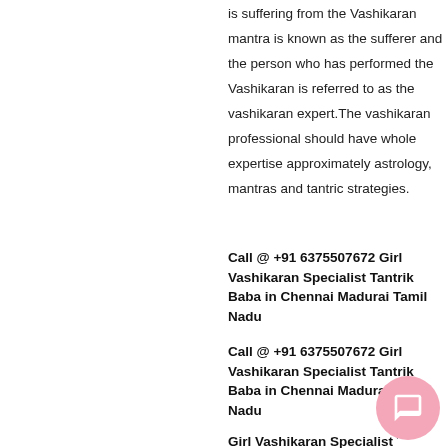is suffering from the Vashikaran mantra is known as the sufferer and the person who has performed the Vashikaran is referred to as the vashikaran expert.The vashikaran professional should have whole expertise approximately astrology, mantras and tantric strategies.
Call @ +91 6375507672 Girl Vashikaran Specialist Tantrik Baba in Chennai Madurai Tamil Nadu
Call @ +91 6375507672 Girl Vashikaran Specialist Tantrik Baba in Chennai Madurai Tamil Nadu
Girl Vashikaran Specialist Tantrik Baba in Chennai Madurai Tamil Nadu